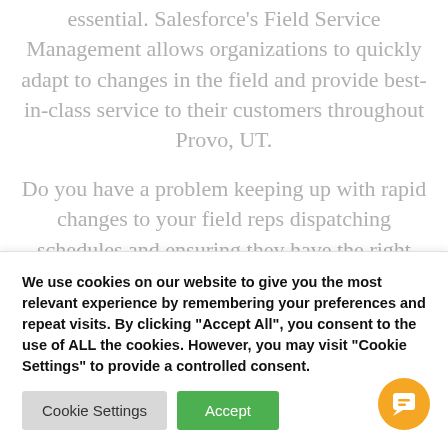essential. Salesforce's Field Service Management allows organizations to quickly adapt to changes in the field and provide best-in-class service to their customers throughout Provo, UT.
Do you have a problem keeping up with rapid changes to your field reps dispatching schedules and ensuring they have the right information to get the job done? With Field Service Management service reps in the field
We use cookies on our website to give you the most relevant experience by remembering your preferences and repeat visits. By clicking "Accept All", you consent to the use of ALL the cookies. However, you may visit "Cookie Settings" to provide a controlled consent.